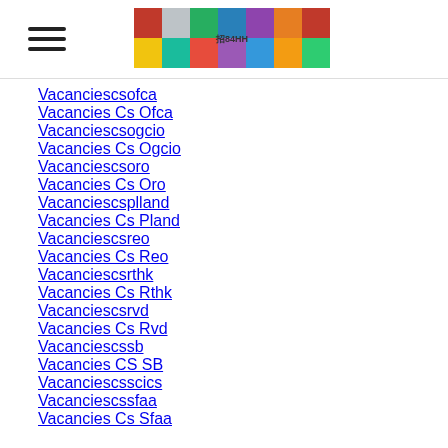Navigation header with hamburger menu and banner image
Vacanciescsofca
Vacancies Cs Ofca
Vacanciescsogcio
Vacancies Cs Ogcio
Vacanciescsoro
Vacancies Cs Oro
Vacanciescsplandd
Vacancies Cs Pland
Vacanciescsreo
Vacancies Cs Reo
Vacanciescsrthk
Vacancies Cs Rthk
Vacanciescsrvd
Vacancies Cs Rvd
Vacanciescssb
Vacancies CS SB
Vacanciescsscics
Vacanciescssfaa
Vacancies Cs Sfaa